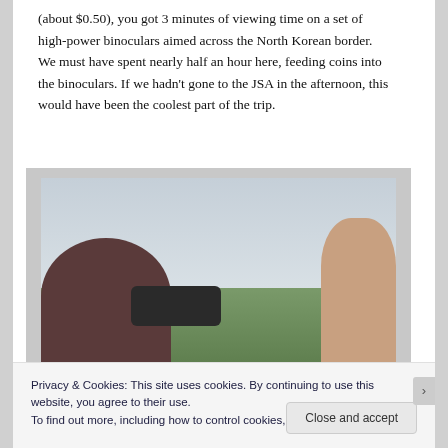(about $0.50), you got 3 minutes of viewing time on a set of high-power binoculars aimed across the North Korean border. We must have spent nearly half an hour here, feeding coins into the binoculars. If we hadn't gone to the JSA in the afternoon, this would have been the coolest part of the trip.
[Figure (photo): Two people looking through high-power binoculars mounted on a stand, aimed at a green landscape with hills under an overcast sky. A person with red hair is on the left, and a person in a light-colored jacket is partially visible on the right.]
Privacy & Cookies: This site uses cookies. By continuing to use this website, you agree to their use.
To find out more, including how to control cookies, see here: Cookie Policy